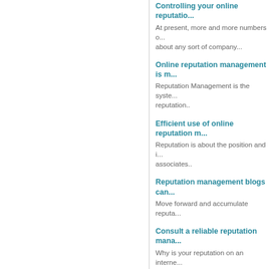Controlling your online reputation...
At present, more and more numbers of... about any sort of company...
Online reputation management is m...
Reputation Management is the system... reputation..
Efficient use of online reputation m...
Reputation is about the position and i... associates..
Reputation management blogs can...
Move forward and accumulate reputa...
Consult a reliable reputation mana...
Why is your reputation on an internet... indirectly (can say) affects your sales...
Quality reputed management servi...
What is Internet Reputation? Internet...
Know the essential modalities whil...
Reputation management refers to the... image...
The qualitative reputation manage...
A description of online reputation...